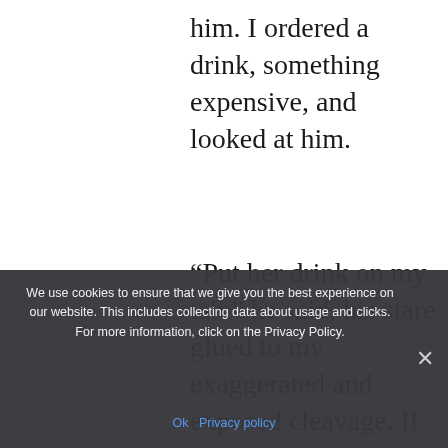him. I ordered a drink, something expensive, and looked at him.
“Put her drink on my tab,” he said, his stare glued to my exaggerated and exposed cleavage. If the neckline was any lower, I’d be showing nipple. “Those were some nice moves.”
At least it wasn’t another awful pick up line though he got no points for originality. “Thanks.”
We use cookies to ensure that we give you the best experience on our website. This includes collecting data about usage and clicks. For more information, click on the Privacy Policy.
Ok   Privacy policy